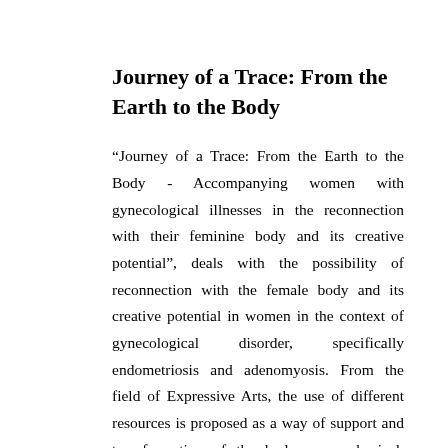Journey of a Trace: From the Earth to the Body
“Journey of a Trace: From the Earth to the Body - Accompanying women with gynecological illnesses in the reconnection with their feminine body and its creative potential”, deals with the possibility of reconnection with the female body and its creative potential in women in the context of gynecological disorder, specifically endometriosis and adenomyosis. From the field of Expressive Arts, the use of different resources is proposed as a way of support and transformation of the body on a physical, emotional and energetic level. This thesis is based on my own testimony and art making process,